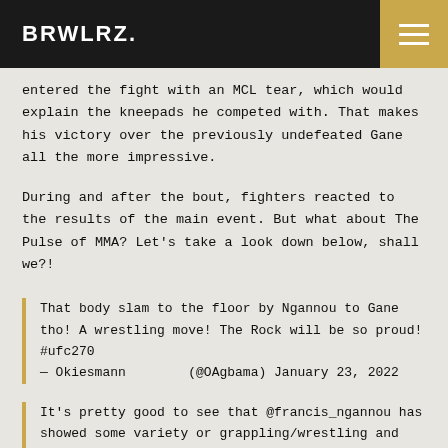BRWLRZ.
entered the fight with an MCL tear, which would explain the kneepads he competed with. That makes his victory over the previously undefeated Gane all the more impressive.
During and after the bout, fighters reacted to the results of the main event. But what about The Pulse of MMA? Let's take a look down below, shall we?!
That body slam to the floor by Ngannou to Gane tho! A wrestling move! The Rock will be so proud! #ufc270
— Okiesmann        (@OAgbama) January 23, 2022
It's pretty good to see that @francis_ngannou has showed some variety or grappling/wrestling and good top position control in his game tonight to win the